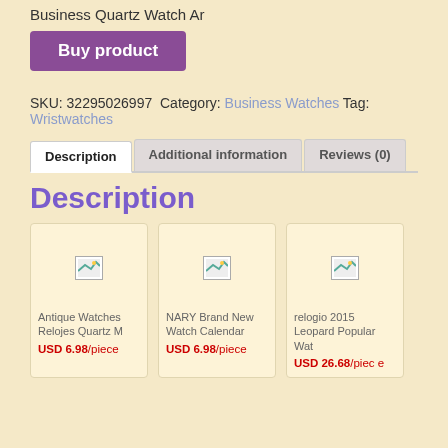Business Quartz Watch Ar
Buy product
SKU: 32295026997  Category: Business Watches  Tag: Wristwatches
Description | Additional information | Reviews (0)
Description
[Figure (other): Product card: Antique Watches Relojes Quartz M, USD 6.98/piece]
[Figure (other): Product card: NARY Brand New Watch Calendar, USD 6.98/piece]
[Figure (other): Product card: relogio 2015 Leopard Popular Wat, USD 26.68/piece]